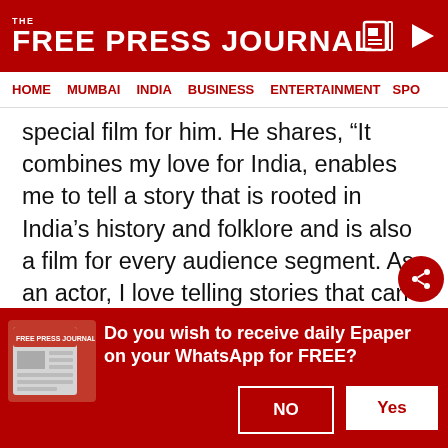THE FREE PRESS JOURNAL
HOME  MUMBAI  INDIA  BUSINESS  ENTERTAINMENT  SPO
special film for him. He shares, "It combines my love for India, enables me to tell a story that is rooted in India's history and folklore and is also a film for every audience segment. As an actor, I love telling stories that can reach everyone, and people can have a community viewing experience. Samrat Prithviraj is a film that sits at the top of the ladder. It is also a spectacle that will leave audiences awe-struck."
[Figure (other): Advertisement box placeholder]
Do you wish to receive daily Epaper on your WhatsApp for FREE?